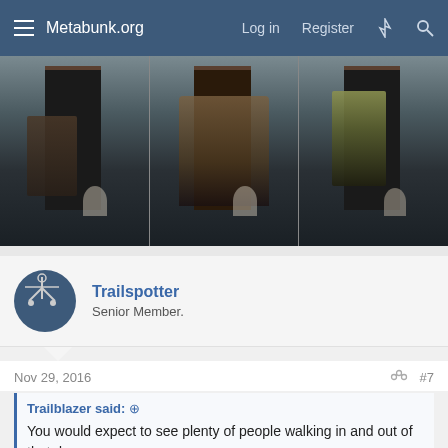Metabunk.org  Log in  Register
[Figure (photo): Three side-by-side dark photos of people standing in or near a doorway of a stone building. Each panel shows a different person partially visible in a doorframe.]
Trailspotter
Senior Member.
Nov 29, 2016  #7
Trailblazer said: ↑
You would expect to see plenty of people walking in and out of that door.
The poor ghost must be pissed off very unset with all these